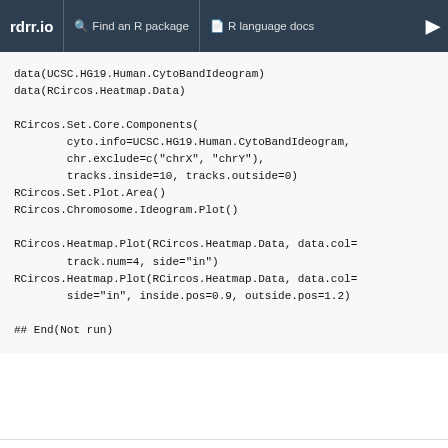rdrr.io  Find an R package  R language docs
data(UCSC.HG19.Human.CytoBandIdeogram)
data(RCircos.Heatmap.Data)

RCircos.Set.Core.Components(
        cyto.info=UCSC.HG19.Human.CytoBandIdeogram,
        chr.exclude=c("chrX", "chrY"),
        tracks.inside=10, tracks.outside=0)
RCircos.Set.Plot.Area()
RCircos.Chromosome.Ideogram.Plot()

RCircos.Heatmap.Plot(RCircos.Heatmap.Data, data.col=
        track.num=4, side="in")
RCircos.Heatmap.Plot(RCircos.Heatmap.Data, data.col=
        side="in", inside.pos=0.9, outside.pos=1.2)

## End(Not run)